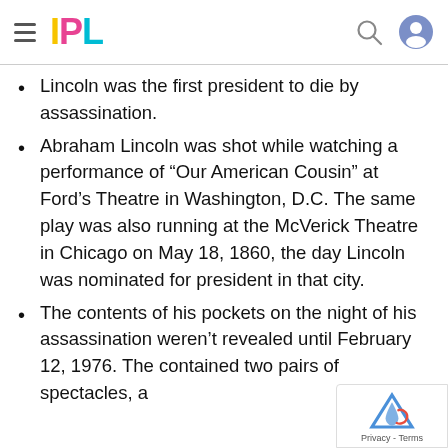IPL
Lincoln was the first president to die by assassination.
Abraham Lincoln was shot while watching a performance of “Our American Cousin” at Ford’s Theatre in Washington, D.C. The same play was also running at the McVerick Theatre in Chicago on May 18, 1860, the day Lincoln was nominated for president in that city.
The contents of his pockets on the night of his assassination weren’t revealed until February 12, 1976. The contained two pairs of spectacles, a